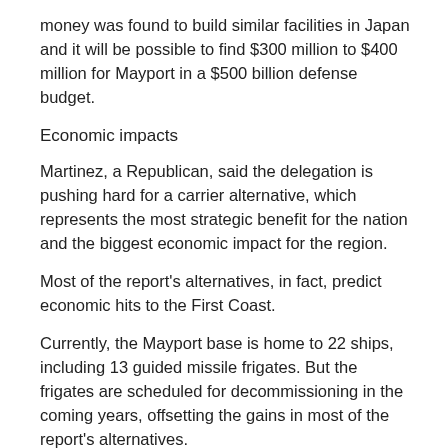money was found to build similar facilities in Japan and it will be possible to find $300 million to $400 million for Mayport in a $500 billion defense budget.
Economic impacts
Martinez, a Republican, said the delegation is pushing hard for a carrier alternative, which represents the most strategic benefit for the nation and the biggest economic impact for the region.
Most of the report's alternatives, in fact, predict economic hits to the First Coast.
Currently, the Mayport base is home to 22 ships, including 13 guided missile frigates. But the frigates are scheduled for decommissioning in the coming years, offsetting the gains in most of the report's alternatives.
But some of the alternatives – especially one calling for a carrier, amphibious assault ships, destroyers and a